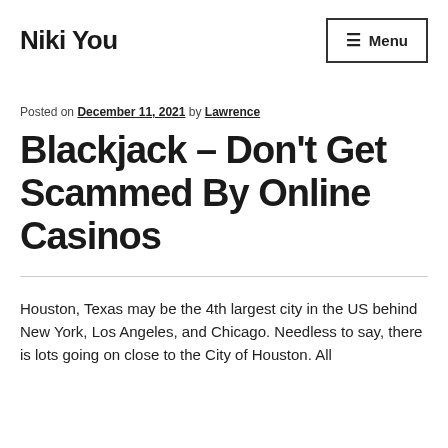Niki You
Posted on December 11, 2021 by Lawrence
Blackjack – Don't Get Scammed By Online Casinos
Houston, Texas may be the 4th largest city in the US behind New York, Los Angeles, and Chicago. Needless to say, there is lots going on close to the City of Houston. All